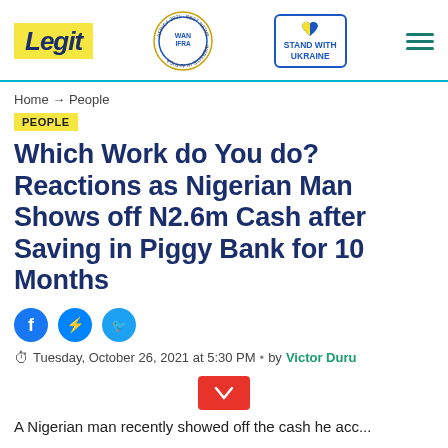Legit | WAN IFRA Best News Website in Africa 2021 | Stand with Ukraine
Home → People
PEOPLE
Which Work do You do? Reactions as Nigerian Man Shows off N2.6m Cash after Saving in Piggy Bank for 10 Months
Tuesday, October 26, 2021 at 5:30 PM • by Victor Duru